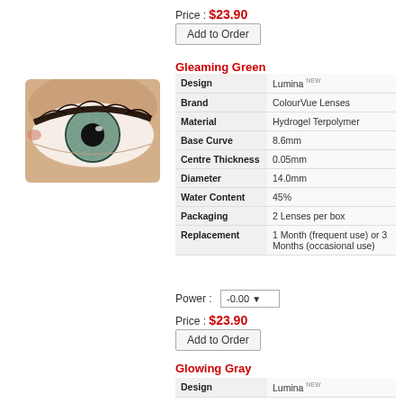Price : $23.90
Add to Order
Gleaming Green
[Figure (photo): Close-up photo of a human eye with a green-gray iris and dark lashes, showing a contact lens with a green color effect.]
|  |  |
| --- | --- |
| Design | Lumina NEW |
| Brand | ColourVue Lenses |
| Material | Hydrogel Terpolymer |
| Base Curve | 8.6mm |
| Centre Thickness | 0.05mm |
| Diameter | 14.0mm |
| Water Content | 45% |
| Packaging | 2 Lenses per box |
| Replacement | 1 Month (frequent use) or 3 Months (occasional use) |
Power : -0.00
Price : $23.90
Add to Order
Glowing Gray
|  |  |
| --- | --- |
| Design | Lumina NEW |